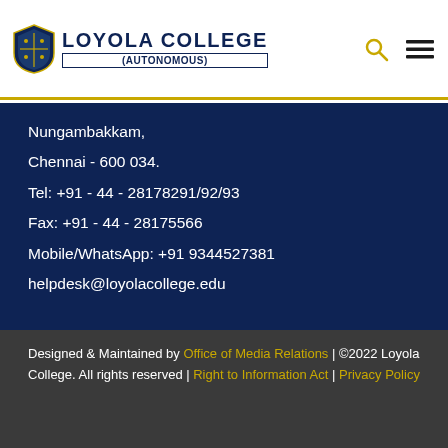LOYOLA COLLEGE (AUTONOMOUS)
Nungambakkam,
Chennai - 600 034.
Tel: +91 - 44 - 28178291/92/93
Fax: +91 - 44 - 28175566
Mobile/WhatsApp: +91 9344527381
helpdesk@loyolacollege.edu
Designed & Maintained by Office of Media Relations | ©2022 Loyola College. All rights reserved | Right to Information Act |  Privacy Policy